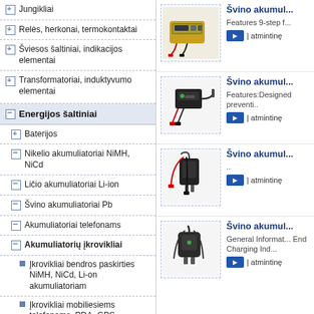Jungikliai
Relės, herkonai, termokontaktai
Šviesos šaltiniai, indikacijos elementai
Transformatoriai, induktyvumo elementai
Energijos šaltiniai
Baterijos
Nikelio akumuliatoriai NiMH, NiCd
Ličio akumuliatoriai Li-ion
Švino akumuliatoriai Pb
Akumuliatoriai telefonams
Akumuliatorių įkrovikliai
Įkrovikliai bendros paskirties NiMH, NiCd, Li-on akumuliatoriam
Įkrovikliai mobiliesiems telefonams, PDA, GPS
Įkrovikliai bendros paskirties PB akumuliatoriam
Įkrovikliai automobilių akumuliatoriams
Laikikliai elementams ir...
[Figure (photo): Yellow battery charger device with display]
Švino akumul... Features 9-step f... | atmintinę
[Figure (photo): Black battery charger with red/black cables]
Švino akumul... Features:Designed preventi.. | atmintinę
[Figure (photo): Black AC adapter with red/black clamps]
Švino akumul... .. | atmintinę
[Figure (photo): Black AC adapter charger]
Švino akumul... General Informat... End Charging Ind... | atmintinę